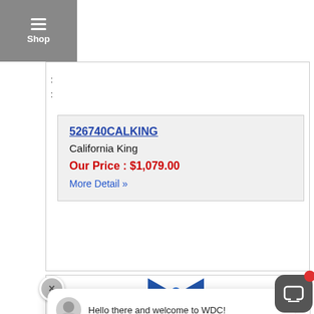Shop
:
:
526740CALKING
California King
Our Price : $1,079.00
More Detail »
Hello there and welcome to WDC!
I'm Roxy, your Virtual Web Assistant.